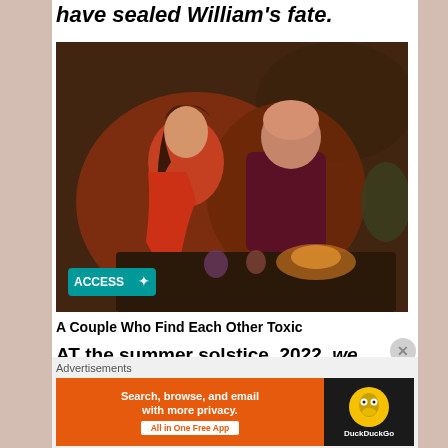have sealed William's fate.
[Figure (photo): A couple (Kate and William) sitting together in a dimly lit pub/bar setting. Kate wears a red floral dress, William wears a dark maroon sweater. There is an Access logo badge in the lower left and a vertical watermark reading 'A BERRY ROYAL CHRISTMAS / BBC' on the right side.]
A Couple Who Find Each Other Toxic
AT the summer solstice, 2022, we have William at 40. Well guess what, that
Advertisements
[Figure (other): DuckDuckGo advertisement banner: orange left side reads 'Search, browse, and email with more privacy. All in One Free App', dark right side shows DuckDuckGo logo.]